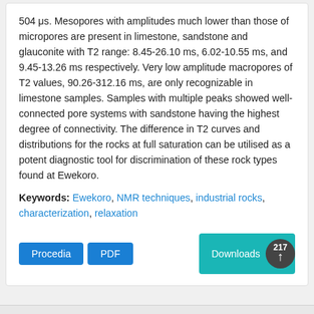504 μs. Mesopores with amplitudes much lower than those of micropores are present in limestone, sandstone and glauconite with T2 range: 8.45-26.10 ms, 6.02-10.55 ms, and 9.45-13.26 ms respectively. Very low amplitude macropores of T2 values, 90.26-312.16 ms, are only recognizable in limestone samples. Samples with multiple peaks showed well-connected pore systems with sandstone having the highest degree of connectivity. The difference in T2 curves and distributions for the rocks at full saturation can be utilised as a potent diagnostic tool for discrimination of these rock types found at Ewekoro.
Keywords: Ewekoro, NMR techniques, industrial rocks, characterization, relaxation